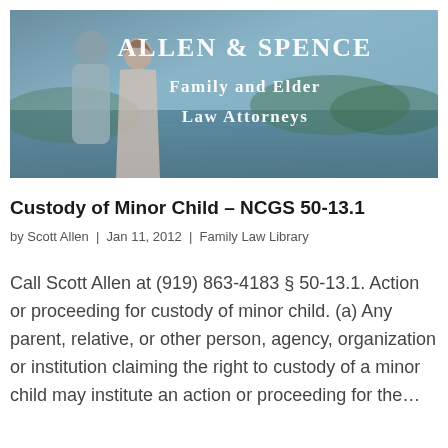[Figure (illustration): Banner image for Allen & Spence Family and Elder Law Attorneys showing a couple in front of a lake with text overlay reading 'Allen & Spence Family and Elder Law Attorneys']
Custody of Minor Child – NCGS 50-13.1
by Scott Allen | Jan 11, 2012 | Family Law Library
Call Scott Allen at (919) 863-4183 § 50-13.1. Action or proceeding for custody of minor child. (a) Any parent, relative, or other person, agency, organization or institution claiming the right to custody of a minor child may institute an action or proceeding for the...